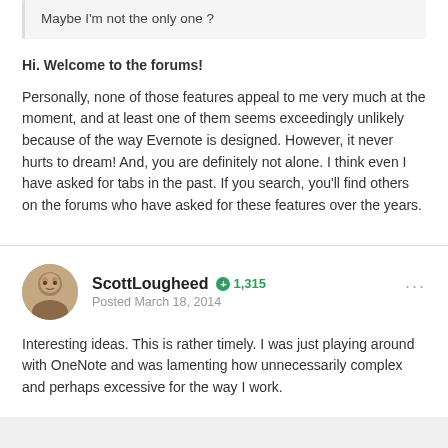Maybe I'm not the only one ?
Hi. Welcome to the forums!
Personally, none of those features appeal to me very much at the moment, and at least one of them seems exceedingly unlikely because of the way Evernote is designed. However, it never hurts to dream! And, you are definitely not alone. I think even I have asked for tabs in the past. If you search, you'll find others on the forums who have asked for these features over the years.
ScottLougheed +1,315 Posted March 18, 2014
Interesting ideas. This is rather timely. I was just playing around with OneNote and was lamenting how unnecessarily complex and perhaps excessive for the way I work.